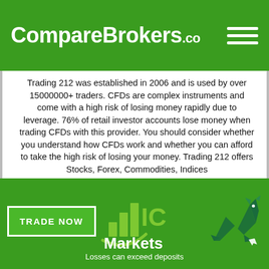CompareBrokers.co
Trading 212 was established in 2006 and is used by over 15000000+ traders. CFDs are complex instruments and come with a high risk of losing money rapidly due to leverage. 76% of retail investor accounts lose money when trading CFDs with this provider. You should consider whether you understand how CFDs work and whether you can afford to take the high risk of losing your money. Trading 212 offers Stocks, Forex, Commodities, Indices
[Figure (logo): IC Markets logo with bull graphic and TRADE NOW button, Losses can exceed deposits disclaimer]